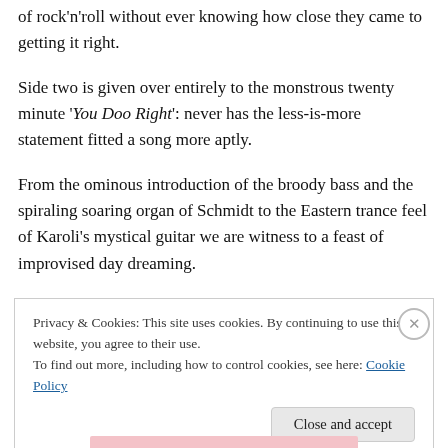of rock'n'roll without ever knowing how close they came to getting it right.
Side two is given over entirely to the monstrous twenty minute 'You Doo Right': never has the less-is-more statement fitted a song more aptly.
From the ominous introduction of the broody bass and the spiraling soaring organ of Schmidt to the Eastern trance feel of Karoli's mystical guitar we are witness to a feast of improvised day dreaming.
Privacy & Cookies: This site uses cookies. By continuing to use this website, you agree to their use.
To find out more, including how to control cookies, see here: Cookie Policy
Close and accept